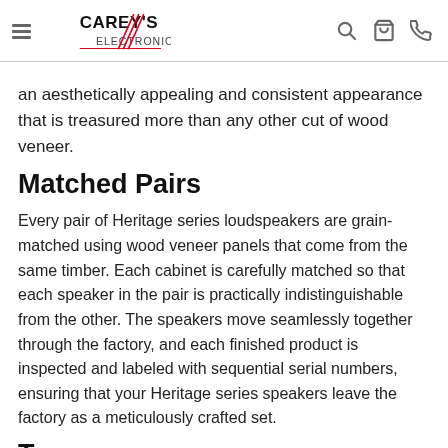Carey's Electronics
an aesthetically appealing and consistent appearance that is treasured more than any other cut of wood veneer.
Matched Pairs
Every pair of Heritage series loudspeakers are grain-matched using wood veneer panels that come from the same timber. Each cabinet is carefully matched so that each speaker in the pair is practically indistinguishable from the other. The speakers move seamlessly together through the factory, and each finished product is inspected and labeled with sequential serial numbers, ensuring that your Heritage series speakers leave the factory as a meticulously crafted set.
T...